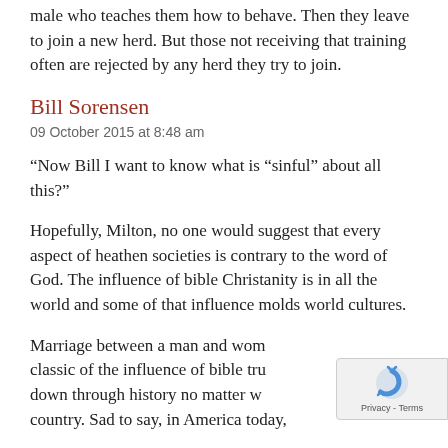male who teaches them how to behave. Then they leave to join a new herd. But those not receiving that training often are rejected by any herd they try to join.
Bill Sorensen
09 October 2015 at 8:48 am
“Now Bill I want to know what is “sinful” about all this? ”
Hopefully, Milton, no one would suggest that every aspect of heathen societies is contrary to the word of God. The influence of bible Christanity is in all the world and some of that influence molds world cultures.
Marriage between a man and woman is classic of the influence of bible tru down through history no matter w country. Sad to say, in America today,